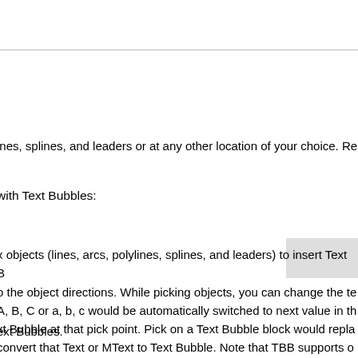ines, splines, and leaders or at any other location of your choice. Re
with Text Bubbles:
x objects (lines, arcs, polylines, splines, and leaders) to insert Text B to the object directions. While picking objects, you can change the te A, B, C or a, b, c would be automatically switched to next value in th xt Bubble at that pick point. Pick on a Text Bubble block would repla convert that Text or MText to Text Bubble. Note that TBB supports o e circle.
ext Bubbles.